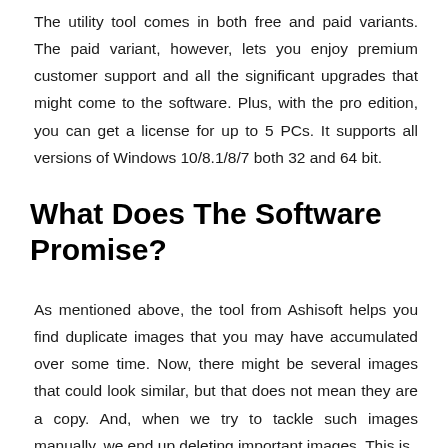The utility tool comes in both free and paid variants. The paid variant, however, lets you enjoy premium customer support and all the significant upgrades that might come to the software. Plus, with the pro edition, you can get a license for up to 5 PCs. It supports all versions of Windows 10/8.1/8/7 both 32 and 64 bit.
What Does The Software Promise?
As mentioned above, the tool from Ashisoft helps you find duplicate images that you may have accumulated over some time. Now, there might be several images that could look similar, but that does not mean they are a copy. And, when we try to tackle such images manually, we end up deleting important images. This is